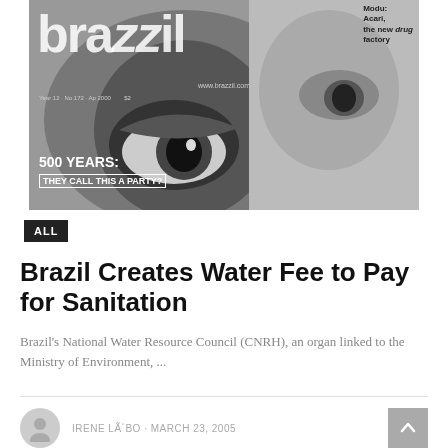[Figure (photo): Black and white magazine cover of 'brazzil' magazine showing a close-up of a face with large eye visible. Text reads: 'www.brazzil.com', 'Year 12 · No. 172 · Ap 2000', '$2', top right corner text 'Modu: Acari, the new drug factory', bottom text '500 YEARS: THEY CALL THIS A PARTY?']
ALL
Brazil Creates Water Fee to Pay for Sanitation
Brazil's National Water Resource Council (CNRH), an organ linked to the Ministry of Environment, ...
IRENE LÃ´BO · MARCH 23, 2005